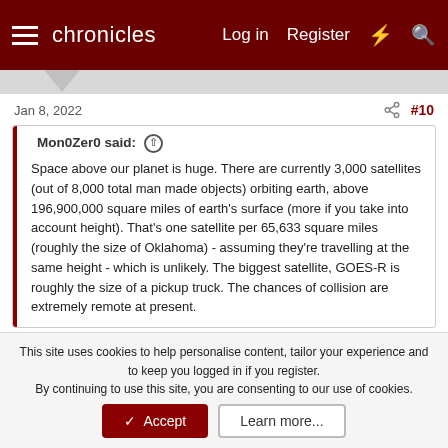chronicles  Log in  Register
Jan 8, 2022  #10
Mon0Zer0 said: ↑

Space above our planet is huge. There are currently 3,000 satellites (out of 8,000 total man made objects) orbiting earth, above 196,900,000 square miles of earth's surface (more if you take into account height). That's one satellite per 65,633 square miles (roughly the size of Oklahoma) - assuming they're travelling at the same height - which is unlikely. The biggest satellite, GOES-R is roughly the size of a pickup truck. The chances of collision are extremely remote at present.
Thanks for explaining. I think this is forgotten, when we see scary pics like this one. It's not representative. There's still no
This site uses cookies to help personalise content, tailor your experience and to keep you logged in if you register.
By continuing to use this site, you are consenting to our use of cookies.